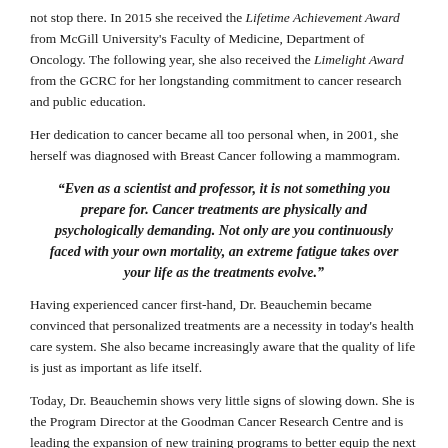not stop there. In 2015 she received the Lifetime Achievement Award from McGill University's Faculty of Medicine, Department of Oncology. The following year, she also received the Limelight Award from the GCRC for her longstanding commitment to cancer research and public education.
Her dedication to cancer became all too personal when, in 2001, she herself was diagnosed with Breast Cancer following a mammogram.
“Even as a scientist and professor, it is not something you prepare for. Cancer treatments are physically and psychologically demanding. Not only are you continuously faced with your own mortality, an extreme fatigue takes over your life as the treatments evolve.”
Having experienced cancer first-hand, Dr. Beauchemin became convinced that personalized treatments are a necessity in today’s health care system. She also became increasingly aware that the quality of life is just as important as life itself.
Today, Dr. Beauchemin shows very little signs of slowing down. She is the Program Director at the Goodman Cancer Research Centre and is leading the expansion of new training programs to better equip the next generation of scientists.